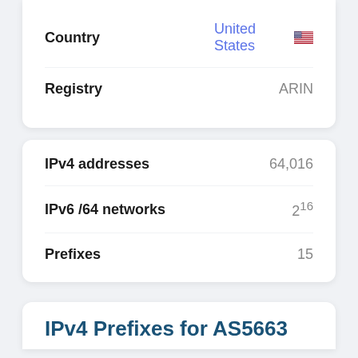Country: United States
Registry: ARIN
IPv4 addresses: 64,016
IPv6 /64 networks: 2^16
Prefixes: 15
IPv4 Prefixes for AS5663